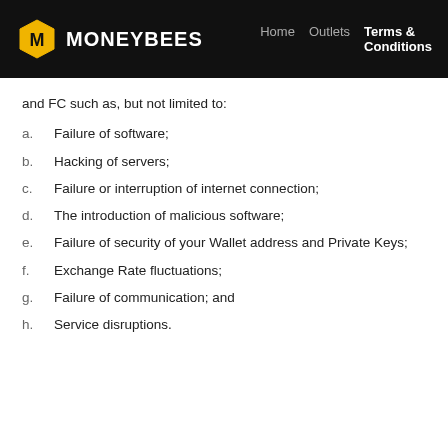MONEYBEES | Home | Outlets | Terms & Conditions
and FC such as, but not limited to:
a. Failure of software;
b. Hacking of servers;
c. Failure or interruption of internet connection;
d. The introduction of malicious software;
e. Failure of security of your Wallet address and Private Keys;
f. Exchange Rate fluctuations;
g. Failure of communication; and
h. Service disruptions.